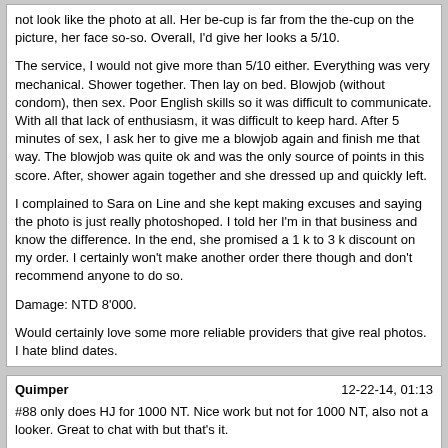not look like the photo at all. Her be-cup is far from the the-cup on the picture, her face so-so. Overall, I'd give her looks a 5/10.

The service, I would not give more than 5/10 either. Everything was very mechanical. Shower together. Then lay on bed. Blowjob (without condom), then sex. Poor English skills so it was difficult to communicate. With all that lack of enthusiasm, it was difficult to keep hard. After 5 minutes of sex, I ask her to give me a blowjob again and finish me that way. The blowjob was quite ok and was the only source of points in this score. After, shower again together and she dressed up and quickly left.

I complained to Sara on Line and she kept making excuses and saying the photo is just really photoshoped. I told her I'm in that business and know the difference. In the end, she promised a 1 k to 3 k discount on my order. I certainly won't make another order there though and don't recommend anyone to do so.

Damage: NTD 8'000.

Would certainly love some more reliable providers that give real photos. I hate blind dates.
Quimper
12-22-14, 01:13

#88 only does HJ for 1000 NT. Nice work but not for 1000 NT, also not a looker. Great to chat with but that's it.

#17 goes straight for FS and not even a bit massage. Great petite body and ok face. FS was great, along with decent HJ.#16 - Indonesian, older / thicker, face / body meh. Massage was Thai style and very good; maybe too good since I think she overstretched my hamstrings with negative results the next day. FS was okay; she was on her menses so I shoulda gone with HJ but I'm a horny bastard. Tipped 3 k (most likely should be lower but see aforementioned horny bastardness). Would repeat for the massage and HJ only.

#22 - Vietnamese, late 20's, face 6 body 8 w / perky be-cups. Massage was okay; mostly elbow / forearm pressure with no real training. FS was very good